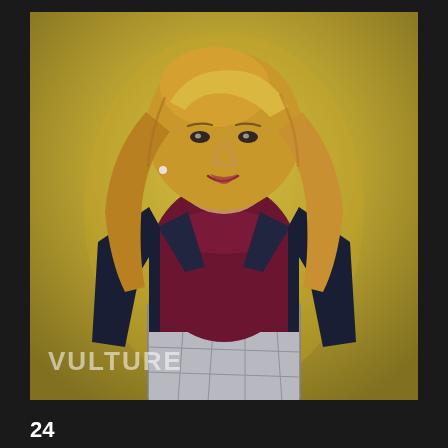[Figure (photo): Portrait photo of a woman with long blonde hair wearing a dark navy blazer over a dark red/maroon mock-neck sweater and grey plaid high-waisted trousers, posed against a golden/yellow background. The Vulture watermark logo appears in the lower left of the photo.]
24